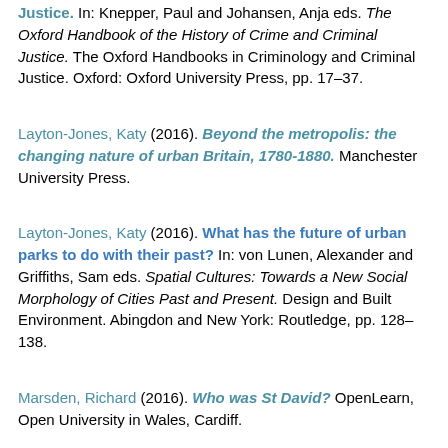Justice. In: Knepper, Paul and Johansen, Anja eds. The Oxford Handbook of the History of Crime and Criminal Justice. The Oxford Handbooks in Criminology and Criminal Justice. Oxford: Oxford University Press, pp. 17–37.
Layton-Jones, Katy (2016). Beyond the metropolis: the changing nature of urban Britain, 1780-1880. Manchester University Press.
Layton-Jones, Katy (2016). What has the future of urban parks to do with their past? In: von Lunen, Alexander and Griffiths, Sam eds. Spatial Cultures: Towards a New Social Morphology of Cities Past and Present. Design and Built Environment. Abingdon and New York: Routledge, pp. 128–138.
Marsden, Richard (2016). Who was St David? OpenLearn, Open University in Wales, Cardiff.